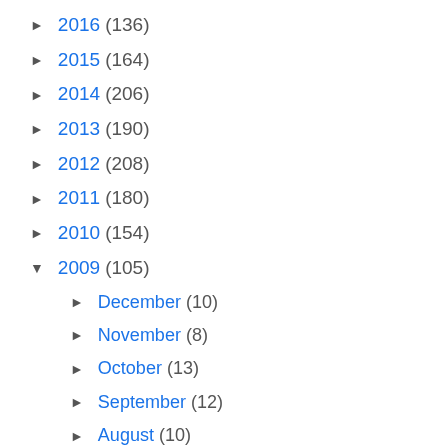► 2016 (136)
► 2015 (164)
► 2014 (206)
► 2013 (190)
► 2012 (208)
► 2011 (180)
► 2010 (154)
▼ 2009 (105)
► December (10)
► November (8)
► October (13)
► September (12)
► August (10)
► July (10)
► June (7)
► May (7)
► April (6)